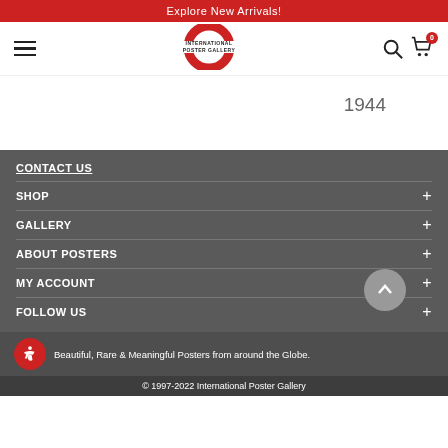Explore New Arrivals!
[Figure (logo): International Poster Gallery logo — red circle/ring with text INTERNATIONAL POSTER GALLERY in center]
1944
CONTACT US
SHOP
GALLERY
ABOUT POSTERS
MY ACCOUNT
FOLLOW US
Beautiful, Rare & Meaningful Posters from around the Globe.
© 1997-2022 International Poster Gallery